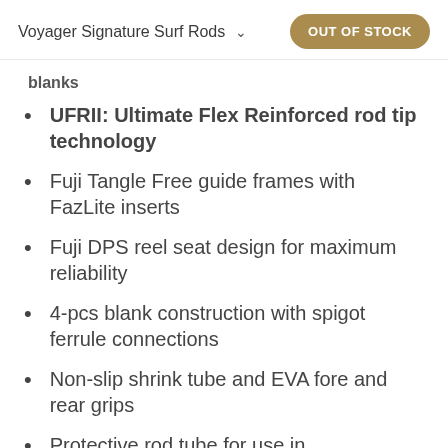Voyager Signature Surf Rods  OUT OF STOCK
Blanks
UFRII: Ultimate Flex Reinforced rod tip technology
Fuji Tangle Free guide frames with FazLite inserts
Fuji DPS reel seat design for maximum reliability
4-pcs blank construction with spigot ferrule connections
Non-slip shrink tube and EVA fore and rear grips
Protective rod tube for use in transportation